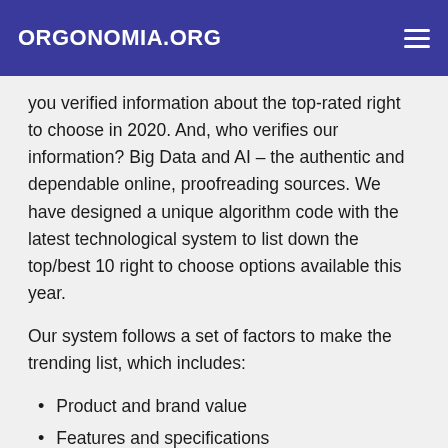ORGONOMIA.ORG
you verified information about the top-rated right to choose in 2020. And, who verifies our information? Big Data and AI – the authentic and dependable online, proofreading sources. We have designed a unique algorithm code with the latest technological system to list down the top/best 10 right to choose options available this year.
Our system follows a set of factors to make the trending list, which includes:
Product and brand value
Features and specifications
Durability, shelf life, and quality